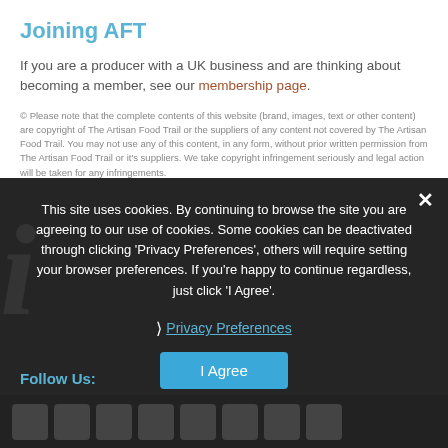Joining AFT
If you are a producer with a UK business and are thinking about becoming a member, see our membership page.
© Please note that the complete contents of this website (brand, images, text or other content) are copyright of The Artisan Food Trail or the suppliers of any content not covered by The Artisan Food Trail. You may not use any of this content, in any form, without prior written permission from The Artisan Food Trail or it's suppliers. We take copyright infringement seriously and legal action will be taken for any infringements.
This site uses cookies. By continuing to browse the site you are agreeing to our use of cookies. Some cookies can be deactivated through clicking 'Privacy Preferences', others will require setting your browser preferences. If you're happy to continue regardless, just click 'I Agree'.
❯ Privacy Preferences
I Agree
Follow Us: